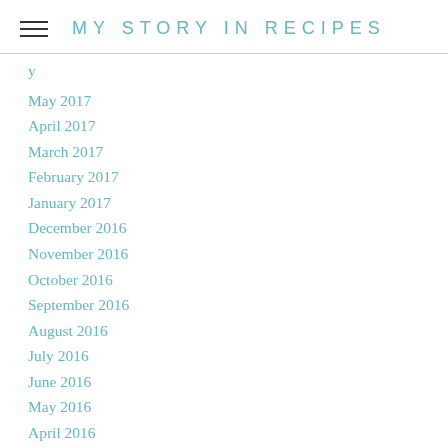MY STORY IN RECIPES
y
May 2017
April 2017
March 2017
February 2017
January 2017
December 2016
November 2016
October 2016
September 2016
August 2016
July 2016
June 2016
May 2016
April 2016
March 2016
February 2016
January 2016